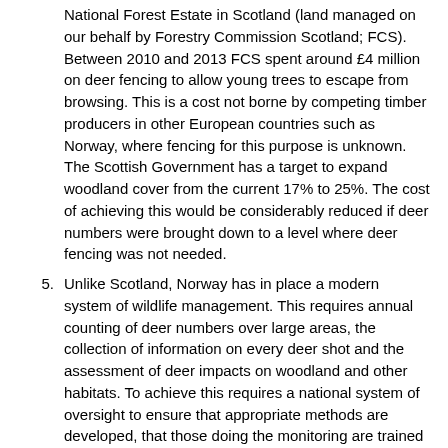National Forest Estate in Scotland (land managed on our behalf by Forestry Commission Scotland; FCS). Between 2010 and 2013 FCS spent around £4 million on deer fencing to allow young trees to escape from browsing. This is a cost not borne by competing timber producers in other European countries such as Norway, where fencing for this purpose is unknown. The Scottish Government has a target to expand woodland cover from the current 17% to 25%. The cost of achieving this would be considerably reduced if deer numbers were brought down to a level where deer fencing was not needed.
5. Unlike Scotland, Norway has in place a modern system of wildlife management. This requires annual counting of deer numbers over large areas, the collection of information on every deer shot and the assessment of deer impacts on woodland and other habitats. To achieve this requires a national system of oversight to ensure that appropriate methods are developed, that those doing the monitoring are trained and that the information returned is of a high quality. A